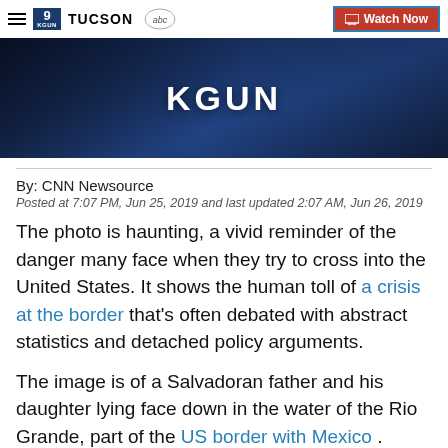9 TUCSON | abc | Watch Now
[Figure (photo): Dark blue-toned news broadcast image with KGUN logo/text overlay]
By: CNN Newsource
Posted at 7:07 PM, Jun 25, 2019 and last updated 2:07 AM, Jun 26, 2019
The photo is haunting, a vivid reminder of the danger many face when they try to cross into the United States. It shows the human toll of a crisis at the border that's often debated with abstract statistics and detached policy arguments.
The image is of a Salvadoran father and his daughter lying face down in the water of the Rio Grande, part of the US border with Mexico .